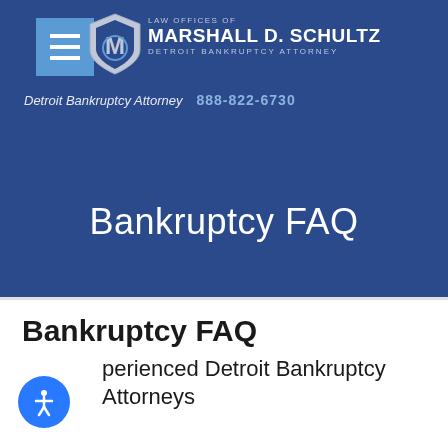LAW OFFICES OF MARSHALL D. SCHULTZ DETROIT BANKRUPTCY ATTORNEY
Detroit Bankruptcy Attorney  888-822-6730
Bankruptcy FAQ
Bankruptcy FAQ
Experienced Detroit Bankruptcy Attorneys